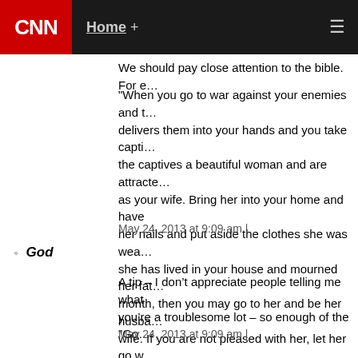CNN  Home +
We should pay close attention to the bible. For e…
"When you go to war against your enemies and t… delivers them into your hands and you take capti… the captives a beautiful woman and are attracte… as your wife. Bring her into your home and have … her nails and put aside the clothes she was wea… she has lived in your house and mourned her fat… month, then you may go to her and be her husba… wife. If you are not pleased with her, let her go w… must not sell her or treat her as a slave, since yo… Deuteronomy 21:10-14
May 24, 2013 at 9:09 am |
God
A tip – I don’t appreciate people telling me what… you’re a troublesome lot – so enough of the "Go…
May 24, 2013 at 9:09 am |